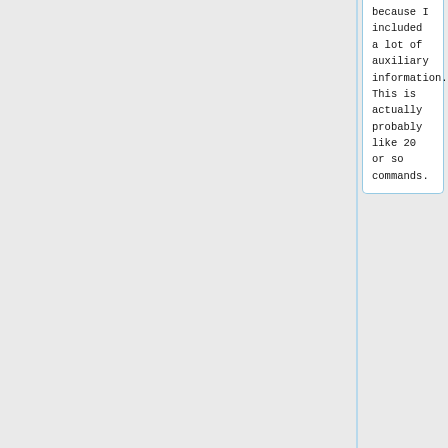because I included a lot of auxiliary information. This is actually probably like 20 or so commands.
+
* Once the talk has been recorded, plug the camera in using the mini-USB cable that comes in the